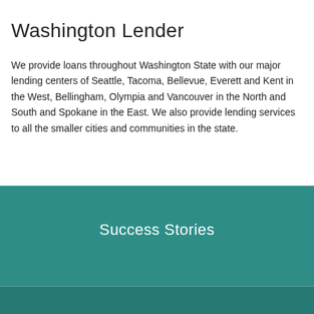Washington Lender
We provide loans throughout Washington State with our major lending centers of Seattle, Tacoma, Bellevue, Everett and Kent in the West, Bellingham, Olympia and Vancouver in the North and South and Spokane in the East. We also provide lending services to all the smaller cities and communities in the state.
Success Stories